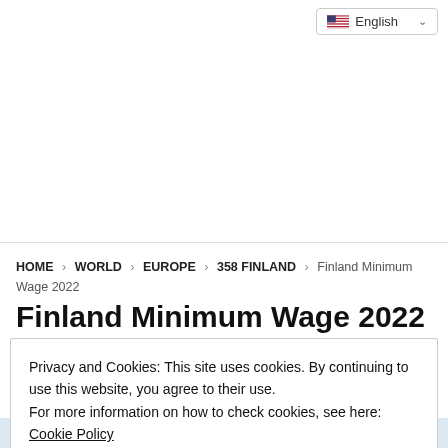English
HOME > WORLD > EUROPE > 358 FINLAND > Finland Minimum Wage 2022
Finland Minimum Wage 2022
Privacy and Cookies: This site uses cookies. By continuing to use this website, you agree to their use.
For more information on how to check cookies, see here: Cookie Policy
OK
[Figure (bar-chart): Partial view of a bar chart at the bottom of the page, showing blue bars against a light blue background]